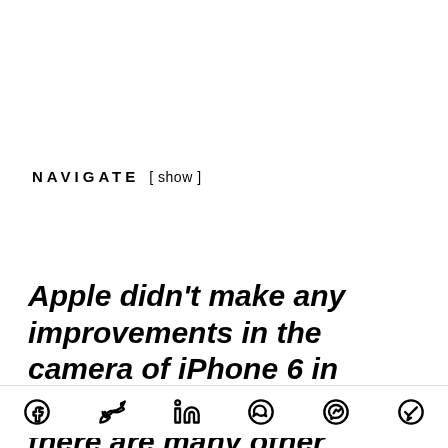NAVIGATE [ show ]
Apple didn't make any improvements in the camera of iPhone 6 in terms of resolution, but there are many other features
[Figure (other): Social sharing icons row: Facebook, Twitter, LinkedIn, WhatsApp, Messenger, Telegram]